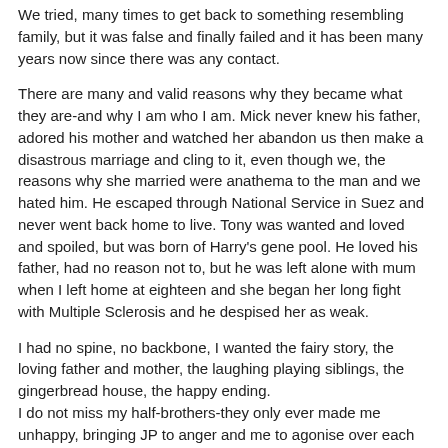We tried, many times to get back to something resembling family, but it was false and finally failed and it has been many years now since there was any contact.
There are many and valid reasons why they became what they are-and why I am who I am. Mick never knew his father, adored his mother and watched her abandon us then make a disastrous marriage and cling to it, even though we, the reasons why she married were anathema to the man and we hated him. He escaped through National Service in Suez and never went back home to live. Tony was wanted and loved and spoiled, but was born of Harry's gene pool. He loved his father, had no reason not to, but he was left alone with mum when I left home at eighteen and she began her long fight with Multiple Sclerosis and he despised her as weak.
I had no spine, no backbone, I wanted the fairy story, the loving father and mother, the laughing playing siblings, the gingerbread house, the happy ending.
I do not miss my half-brothers-they only ever made me unhappy, bringing JP to anger and me to agonise over each visit.